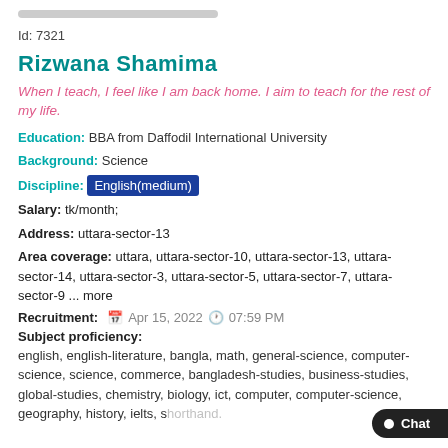Id: 7321
Rizwana Shamima
When I teach, I feel like I am back home. I aim to teach for the rest of my life.
Education: BBA from Daffodil International University
Background: Science
Discipline: English(medium)
Salary: tk/month;
Address: uttara-sector-13
Area coverage: uttara, uttara-sector-10, uttara-sector-13, uttara-sector-14, uttara-sector-3, uttara-sector-5, uttara-sector-7, uttara-sector-9 ... more
Recruitment: Apr 15, 2022 07:59 PM
Subject proficiency:
english, english-literature, bangla, math, general-science, computer-science, science, commerce, bangladesh-studies, business-studies, global-studies, chemistry, biology, ict, computer, computer-science, geography, history, ielts, shorthand.